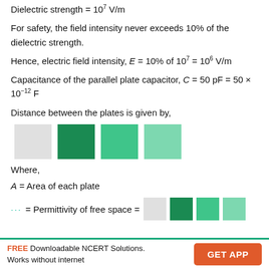Dielectric strength = 10^7 V/m
For safety, the field intensity never exceeds 10% of the dielectric strength.
Hence, electric field intensity, E = 10% of 10^7 = 10^6 V/m
Capacitance of the parallel plate capacitor, C = 50 pF = 50 × 10^-12 F
Distance between the plates is given by,
[Figure (other): Formula shown as colored boxes representing d = (epsilon_0 * A * epsilon_r) / C or similar, with gray, dark green, medium green, and light green color blocks]
Where,
A = Area of each plate
… = Permittivity of free space = [colored boxes]
FREE Downloadable NCERT Solutions. Works without internet | GET APP